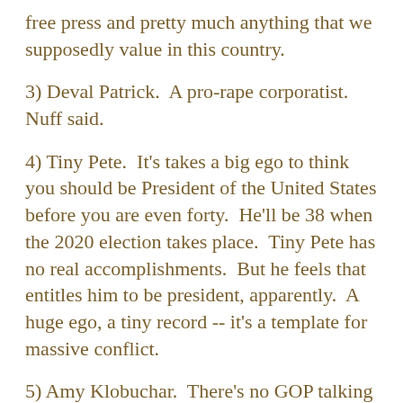free press and pretty much anything that we supposedly value in this country.
3) Deval Patrick.  A pro-rape corporatist.  Nuff said.
4) Tiny Pete.  It's takes a big ego to think you should be President of the United States before you are even forty.  He'll be 38 when the 2020 election takes place.  Tiny Pete has no real accomplishments.  But he feels that entitles him to be president, apparently.  A huge ego, a tiny record -- it's a template for massive conflict.
5) Amy Klobuchar.  There's no GOP talking point she won't run with.  There's no one on a stage she won't attack.  Like Joe Biden, she longs for a day in the past when you could speak about the environment but never actually do anything to stop climate change.
Let's close this discussion with numbers.